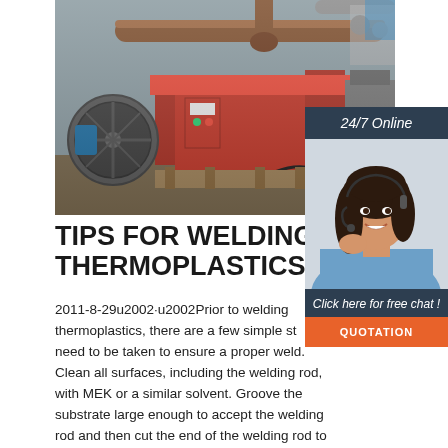[Figure (photo): Industrial pipe welding/bending machine in a factory setting. Large red machine with pipes, a circular duct fan on the left, and workshop equipment in the background.]
[Figure (photo): Customer service representative woman with headset, smiling, shown in a sidebar panel with '24/7 Online' header and 'Click here for free chat!' text with an orange QUOTATION button.]
TIPS FOR WELDING THERMOPLASTICS
2011-8-29u2002·u2002Prior to welding thermoplastics, there are a few simple steps need to be taken to ensure a proper weld. Clean all surfaces, including the welding rod, with MEK or a similar solvent. Groove the substrate large enough to accept the welding rod and then cut the end of the welding rod to a 45° angle. Once the welder has adjusted to the proper...